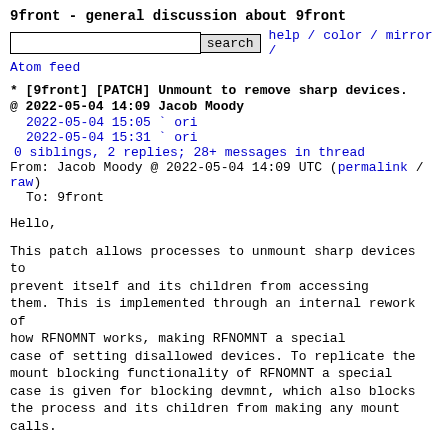9front - general discussion about 9front
search  help / color / mirror / Atom feed
* [9front] [PATCH] Unmount to remove sharp devices.
@ 2022-05-04 14:09 Jacob Moody
  2022-05-04 15:05 ` ori
  2022-05-04 15:31 ` ori
  0 siblings, 2 replies; 28+ messages in thread
From: Jacob Moody @ 2022-05-04 14:09 UTC (permalink / raw)
  To: 9front
Hello,

This patch allows processes to unmount sharp devices to prevent itself and its children from accessing them. This is implemented through an internal rework of how RFNOMNT works, making RFNOMNT a special case of setting disallowed devices. To replicate the mount blocking functionality of RFNOMNT a special case is given for blocking devmnt, which also blocks the process and its children from making any mount calls.

If everything passes the sniff test I can commit these changes. Diff is here:
http://okturing.com/src/13574/body and included below.